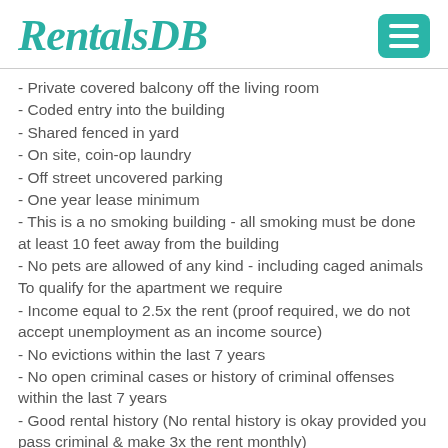RentalsDB
- Private covered balcony off the living room
- Coded entry into the building
- Shared fenced in yard
- On site, coin-op laundry
- Off street uncovered parking
- One year lease minimum
- This is a no smoking building - all smoking must be done at least 10 feet away from the building
- No pets are allowed of any kind - including caged animals
To qualify for the apartment we require
- Income equal to 2.5x the rent (proof required, we do not accept unemployment as an income source)
- No evictions within the last 7 years
- No open criminal cases or history of criminal offenses within the last 7 years
- Good rental history (No rental history is okay provided you pass criminal & make 3x the rent monthly)